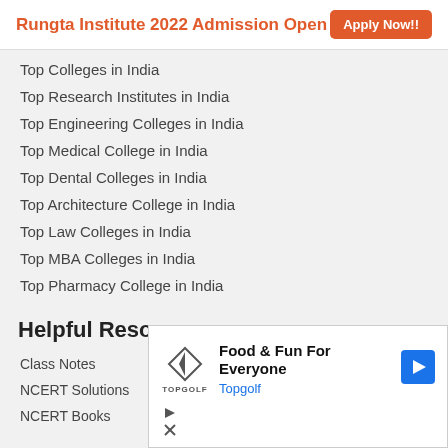Rungta Institute 2022 Admission Open  Apply Now!!
Top Colleges in India
Top Research Institutes in India
Top Engineering Colleges in India
Top Medical College in India
Top Dental Colleges in India
Top Architecture College in India
Top Law Colleges in India
Top MBA Colleges in India
Top Pharmacy College in India
Helpful Resources
Class Notes
NCERT Solutions
NCERT Books
[Figure (infographic): Advertisement for Topgolf: 'Food & Fun For Everyone' with Topgolf logo and navigation arrow icon]